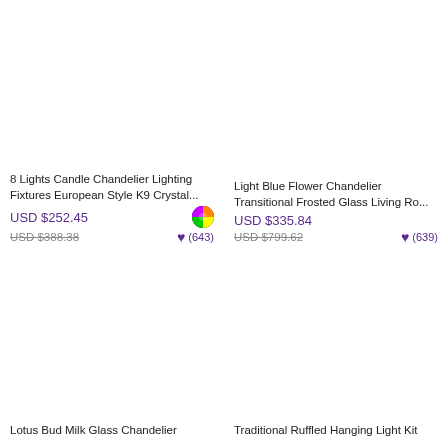8 Lights Candle Chandelier Lighting Fixtures European Style K9 Crystal...
USD $252.45
USD $388.38 (643)
Light Blue Flower Chandelier Transitional Frosted Glass Living Ro...
USD $335.84
USD $799.62 (639)
Lotus Bud Milk Glass Chandelier
Traditional Ruffled Hanging Light Kit